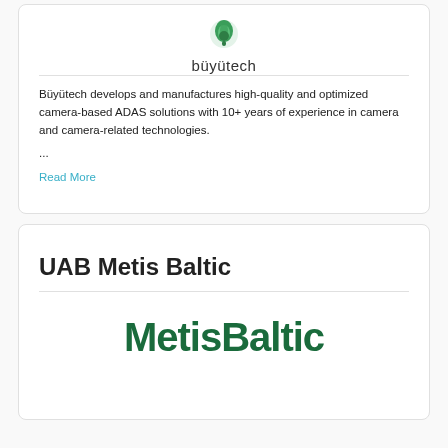[Figure (logo): Büyütech logo: green leaf/tech icon above the text 'büyütech']
Büyütech develops and manufactures high-quality and optimized camera-based ADAS solutions with 10+ years of experience in camera and camera-related technologies.
...
Read More
UAB Metis Baltic
[Figure (logo): MetisBaltic logo in dark green large bold text]